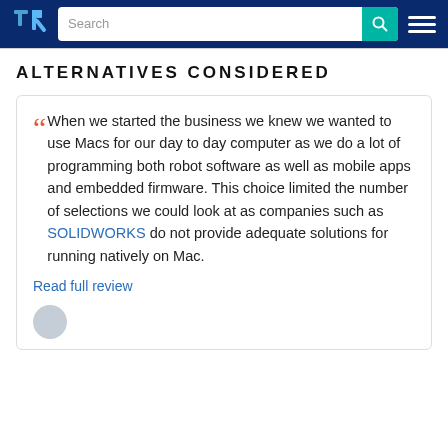TrustRadius — Search bar and navigation header
ALTERNATIVES CONSIDERED
When we started the business we knew we wanted to use Macs for our day to day computer as we do a lot of programming both robot software as well as mobile apps and embedded firmware. This choice limited the number of selections we could look at as companies such as SOLIDWORKS do not provide adequate solutions for running natively on Mac.
Read full review